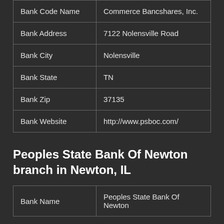| Bank Code Name | Commerce Bancshares, Inc. |
| Bank Address | 7122 Nolensville Road |
| Bank City | Nolensville |
| Bank State | TN |
| Bank Zip | 37135 |
| Bank Website | http://www.psboc.com/ |
Peoples State Bank Of Newton branch in Newton, IL
| Bank Name | Peoples State Bank Of Newton |